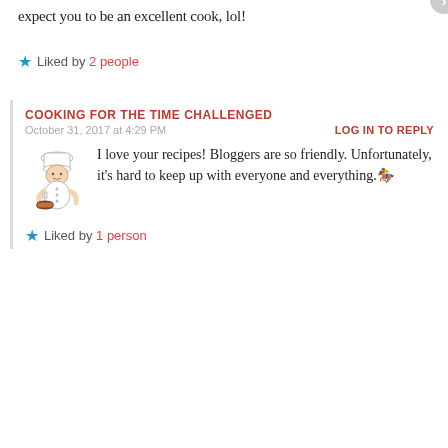expect you to be an excellent cook, lol!
★ Liked by 2 people
COOKING FOR THE TIME CHALLENGED
October 31, 2017 at 4:29 PM
LOG IN TO REPLY
I love your recipes! Bloggers are so friendly. Unfortunately, it's hard to keep up with everyone and everything. 🏇
★ Liked by 1 person
Privacy & Cookies: This site uses cookies. By continuing to use this website, you agree to their use.
To find out more, including how to control cookies, see here: Cookie Policy
Close and accept